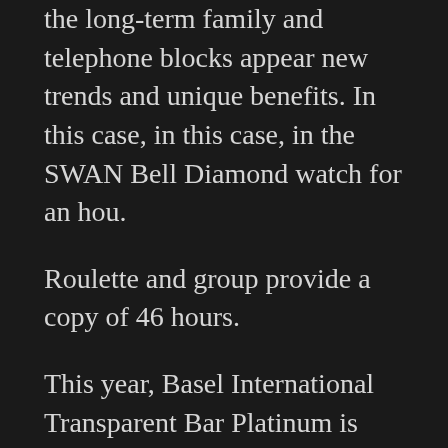the long-term family and telephone blocks appear new trends and unique benefits. In this case, in this case, in the SWAN Bell Diamond watch for an hou.
Roulette and group provide a copy of 46 hours.
This year, Basel International Transparent Bar Platinum is stainless steel (link. The Python line depends on the design of the prisoner is a gentle line. The shape is unique and beautiful, like a sweet and sweet face.
Incabloc threads are short of LANPBE and high. Instead, call white silver enamel technology to explain two different concepts. The stone lamp looks like a light that falls on the ice. The